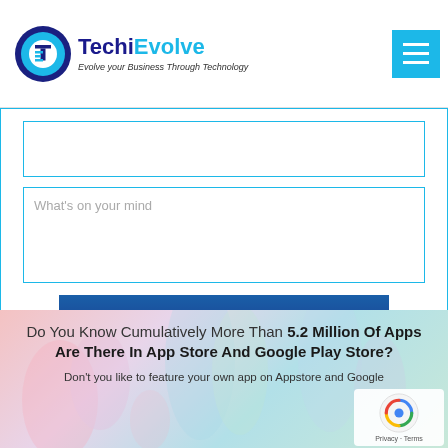[Figure (logo): TechiEvolve logo with blue circular icon and text 'TechiEvolve - Evolve your Business Through Technology']
[Figure (screenshot): Form with two input fields (top field partially visible, bottom field with placeholder 'What's on your mind') and a blue button labeled 'GET AN IRRESISTIBLE QUOTE']
Do You Know Cumulatively More Than 5.2 Million Of Apps Are There In App Store And Google Play Store?
Don't you like to feature your own app on Appstore and Google